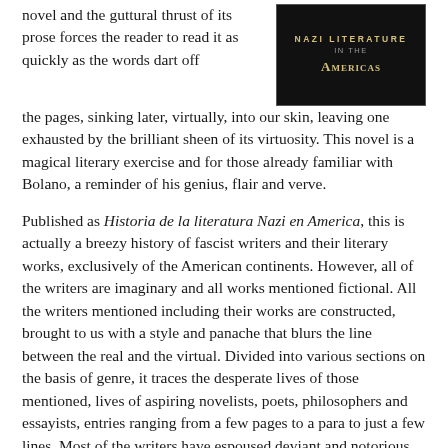[Figure (illustration): Book cover of 'Nazi Literature in the Americas' with dark background and gold/yellow styled text]
novel and the guttural thrust of its prose forces the reader to read it as quickly as the words dart off the pages, sinking later, virtually, into our skin, leaving one exhausted by the brilliant sheen of its virtuosity. This novel is a magical literary exercise and for those already familiar with Bolano, a reminder of his genius, flair and verve.
Published as Historia de la literatura Nazi en America, this is actually a breezy history of fascist writers and their literary works, exclusively of the American continents. However, all of the writers are imaginary and all works mentioned fictional. All the writers mentioned including their works are constructed, brought to us with a style and panache that blurs the line between the real and the virtual. Divided into various sections on the basis of genre, it traces the desperate lives of those mentioned, lives of aspiring novelists, poets, philosophers and essayists, entries ranging from a few pages to a para to just a few lines. Most of the writers have espoused deviant and notorious paths to personal and literary fame, some with extreme right wing ideologies, ranging from the outright messianic to racist to